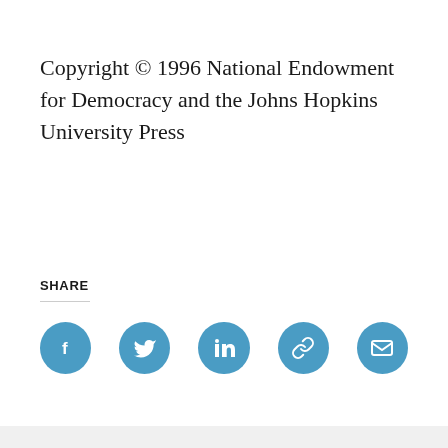Copyright © 1996 National Endowment for Democracy and the Johns Hopkins University Press
SHARE
[Figure (infographic): Row of five social share buttons: Facebook, Twitter, LinkedIn, Link/copy, Email — each a teal-blue circle with white icon]